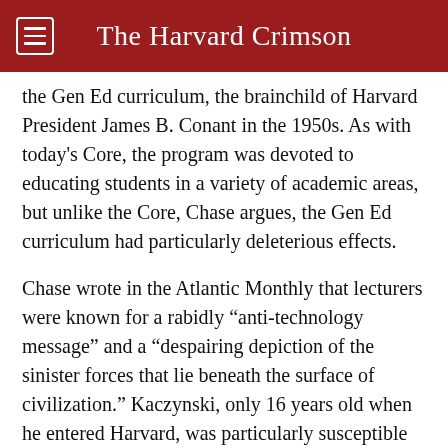The Harvard Crimson
the Gen Ed curriculum, the brainchild of Harvard President James B. Conant in the 1950s. As with today's Core, the program was devoted to educating students in a variety of academic areas, but unlike the Core, Chase argues, the Gen Ed curriculum had particularly deleterious effects.
Chase wrote in the Atlantic Monthly that lecturers were known for a rabidly “anti-technology message” and a “despairing depiction of the sinister forces that lie beneath the surface of civilization.” Kaczynski, only 16 years old when he entered Harvard, was particularly susceptible to these messages because he was exceptionally bright and extraordinarily conscientious Chase says.
But, according to Chase, Kaczynski’s violent tendencies really emerged when he was subjected to severe psychological stress by Henry A. Murray, then a professor